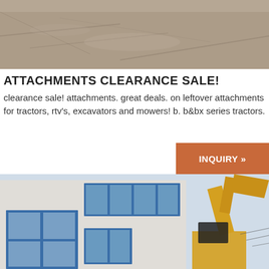[Figure (photo): Aerial or ground-level photo of dirt/gravel ground surface, grayish-brown earth texture]
ATTACHMENTS CLEARANCE SALE!
clearance sale! attachments. great deals. on leftover attachments for tractors, rtv's, excavators and mowers! b. b&bx series tractors.
[Figure (other): Orange/brown button with text INQUIRY »]
[Figure (photo): Photo of industrial building exterior with blue-framed windows and a yellow excavator arm on the right side]